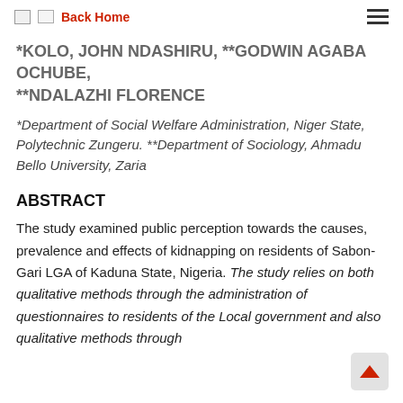Back Home
*KOLO, JOHN NDASHIRU, **GODWIN AGABA OCHUBE, **NDALAZHI FLORENCE
*Department of Social Welfare Administration, Niger State, Polytechnic Zungeru. **Department of Sociology, Ahmadu Bello University, Zaria
ABSTRACT
The study examined public perception towards the causes, prevalence and effects of kidnapping on residents of Sabon-Gari LGA of Kaduna State, Nigeria. The study relies on both qualitative methods through the administration of questionnaires to residents of the Local government and also qualitative methods through